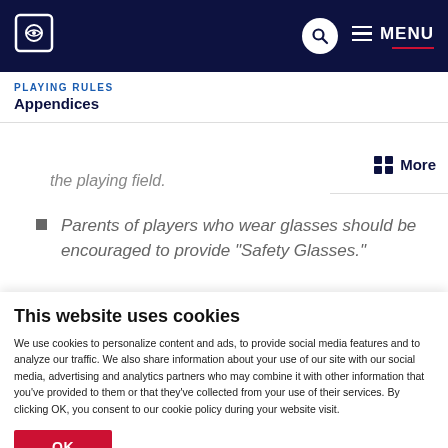PLAYING RULES | Appendices — Navigation bar with logo, search, and menu
PLAYING RULES
Appendices
the playing field.
Parents of players who wear glasses should be encouraged to provide “Safety Glasses.”
This website uses cookies
We use cookies to personalize content and ads, to provide social media features and to analyze our traffic. We also share information about your use of our site with our social media, advertising and analytics partners who may combine it with other information that you’ve provided to them or that they’ve collected from your use of their services. By clicking OK, you consent to our cookie policy during your website visit.
OK